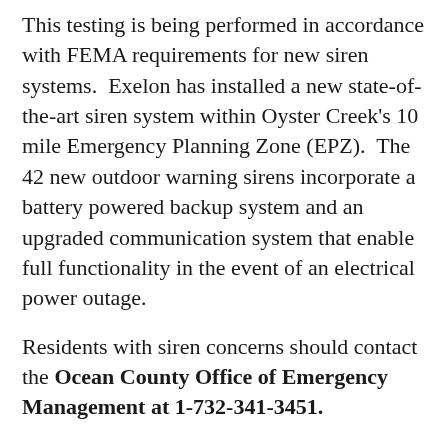This testing is being performed in accordance with FEMA requirements for new siren systems.  Exelon has installed a new state-of-the-art siren system within Oyster Creek's 10 mile Emergency Planning Zone (EPZ).  The 42 new outdoor warning sirens incorporate a battery powered backup system and an upgraded communication system that enable full functionality in the event of an electrical power outage.
Residents with siren concerns should contact the Ocean County Office of Emergency Management at 1-732-341-3451.
The warning sirens are one of several methods used by county emergency management agencies to provide notification of emergencies.  Individual counties may activate the sirens to warn the surrounding community of any emergency